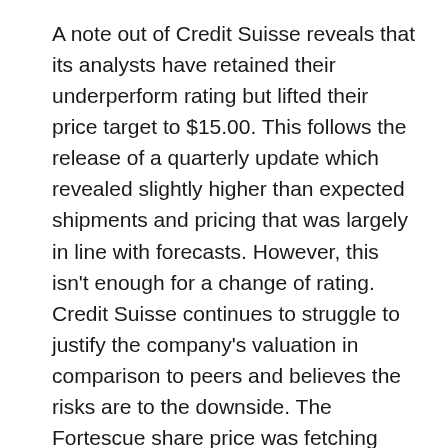A note out of Credit Suisse reveals that its analysts have retained their underperform rating but lifted their price target to $15.00. This follows the release of a quarterly update which revealed slightly higher than expected shipments and pricing that was largely in line with forecasts. However, this isn't enough for a change of rating. Credit Suisse continues to struggle to justify the company's valuation in comparison to peers and believes the risks are to the downside. The Fortescue share price was fetching $21.63 at Friday's close.
Wondering where you should invest $1,000 right now?